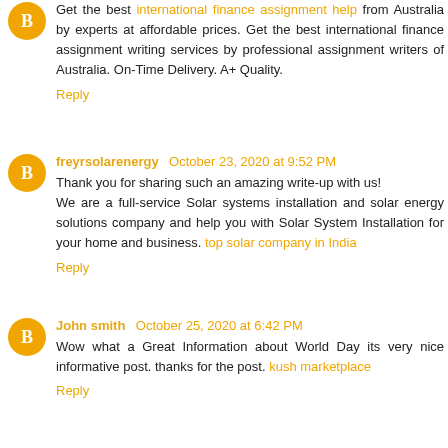Get the best international finance assignment help from Australia by experts at affordable prices. Get the best international finance assignment writing services by professional assignment writers of Australia. On-Time Delivery. A+ Quality.
Reply
freyrsolarenergy October 23, 2020 at 9:52 PM
Thank you for sharing such an amazing write-up with us! We are a full-service Solar systems installation and solar energy solutions company and help you with Solar System Installation for your home and business. top solar company in India
Reply
John smith October 25, 2020 at 6:42 PM
Wow what a Great Information about World Day its very nice informative post. thanks for the post. kush marketplace
Reply